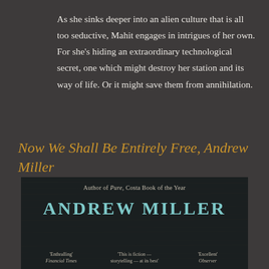As she sinks deeper into an alien culture that is all too seductive, Mahit engages in intrigues of her own. For she's hiding an extraordinary technological secret, one which might destroy her station and its way of life. Or it might save them from annihilation.
Now We Shall Be Entirely Free, Andrew Miller
[Figure (illustration): Book cover for a novel by Andrew Miller. Dark background with wood-grain texture. Text reads: Author of Pure, Costa Book of the Year. Large teal/cyan title ANDREW MILLER. Three blurbs at bottom: 'Enthralling' Financial Times, 'This is fiction — storytelling — at its best', 'Excellent' Observer.]